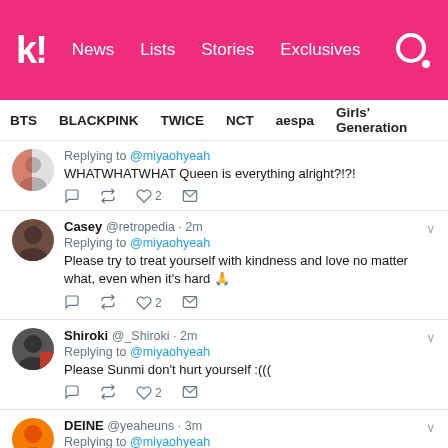Koreaboo — News | Lists | Stories | Exclusives
BTS  BLACKPINK  TWICE  NCT  aespa  Girls' Generation
Replying to @miyaohyeah
WHATWHATWHAT Queen is everything alright?!?!
Casey @retropedia · 2m
Replying to @miyaohyeah
Please try to treat yourself with kindness and love no matter what, even when it's hard 🙏
Shiroki @_Shiroki · 2m
Replying to @miyaohyeah
Please Sunmi don't hurt yourself :(((
DEINE @yeaheuns · 3m
Replying to @miyaohyeah
Sweetie don't. You're stronger than this.
yasmine 🦋 @mysteric_moon · 3m
Replying to @miyaohyeah
are you okay queen? we're here for you